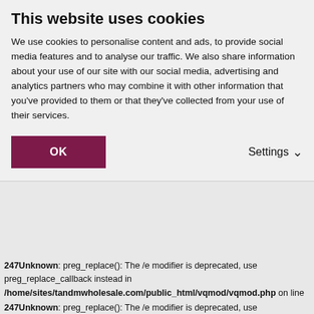This website uses cookies
We use cookies to personalise content and ads, to provide social media features and to analyse our traffic. We also share information about your use of our site with our social media, advertising and analytics partners who may combine it with other information that you've provided to them or that they've collected from your use of their services.
247Unknown: preg_replace(): The /e modifier is deprecated, use preg_replace_callback instead in /home/sites/tandmwholesale.com/public_html/vqmod/vqmod.php on line 247Unknown: preg_replace(): The /e modifier is deprecated, use preg_replace_callback instead in /home/sites/tandmwholesale.com/public_html/vqmod/vqmod.php on line 247Unknown: preg_replace(): The /e modifier is deprecated, use preg_replace_callback instead in /home/sites/tandmwholesale.com/public_html/vqmod/vqmod.php on line 247Unknown: preg_replace(): The /e modifier is deprecated, use preg_replace_callback instead in /home/sites/tandmwholesale.com/public_html/vqmod/vqmod.php on line 247Unknown: preg_replace(): The /e modifier is deprecated, use preg_replace_callback instead in /home/sites/tandmwholesale.com/public_html/vqmod/vqmod.php on line 247Unknown: preg_replace(): The /e modifier is deprecated, use